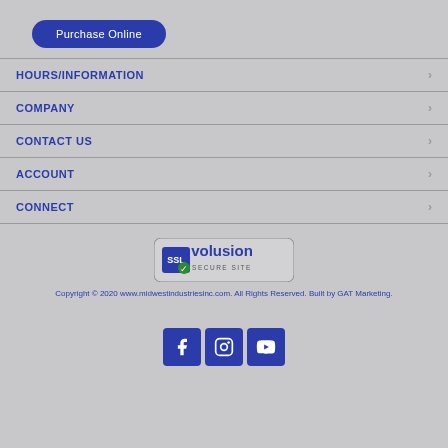Purchase Online
HOURS/INFORMATION
COMPANY
CONTACT US
ACCOUNT
CONNECT
[Figure (logo): SSL Volusion Secure Site badge]
Copyright © 2020 www.midwestindustriesinc.com. All Rights Reserved. Built by GAT Marketing.
[Figure (illustration): Social media icons: Facebook, Instagram, YouTube]